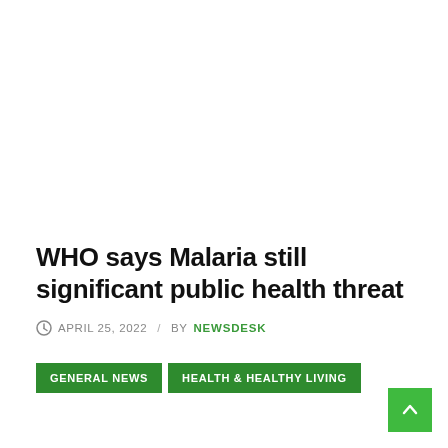WHO says Malaria still significant public health threat
APRIL 25, 2022 / BY NEWSDESK
GENERAL NEWS
HEALTH & HEALTHY LIVING